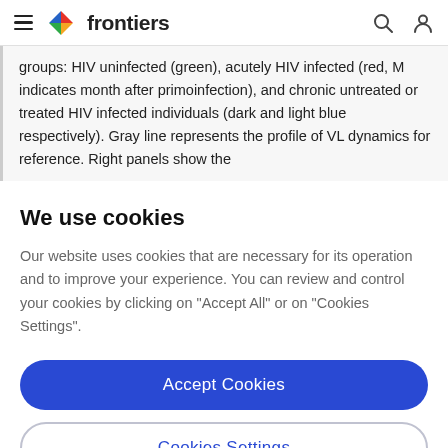frontiers
groups: HIV uninfected (green), acutely HIV infected (red, M indicates month after primoinfection), and chronic untreated or treated HIV infected individuals (dark and light blue respectively). Gray line represents the profile of VL dynamics for reference. Right panels show the
We use cookies
Our website uses cookies that are necessary for its operation and to improve your experience. You can review and control your cookies by clicking on "Accept All" or on "Cookies Settings".
Accept Cookies
Cookies Settings